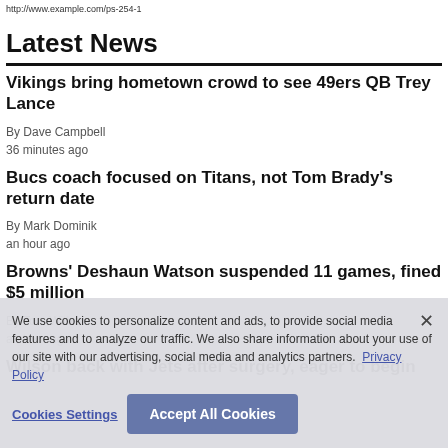http://www.example.com/ps-254-1
Latest News
Vikings bring hometown crowd to see 49ers QB Trey Lance
By Dave Campbell
36 minutes ago
Bucs coach focused on Titans, not Tom Brady's return date
By Mark Dominik
an hour ago
Browns' Deshaun Watson suspended 11 games, fined $5 million
By Tom Withers
an hour ago
Wilson back with Jets after surgery, eager to begin
We use cookies to personalize content and ads, to provide social media features and to analyze our traffic. We also share information about your use of our site with our advertising, social media and analytics partners. Privacy Policy
Cookies Settings  Accept All Cookies